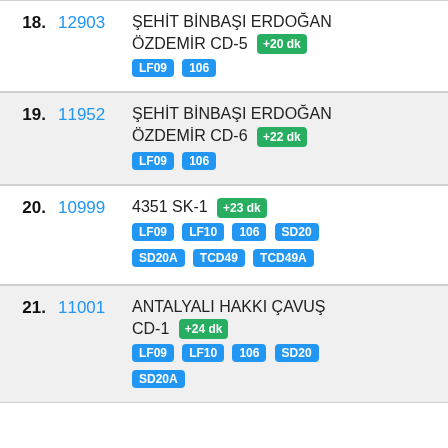18. 12903 ŞEHİT BİNBAŞI ERDOĞAN ÖZDEMİR CD-5 +20 dk LF09 106
19. 11952 ŞEHİT BİNBAŞI ERDOĞAN ÖZDEMİR CD-6 +22 dk LF09 106
20. 10999 4351 SK-1 +23 dk LF09 LF10 106 SD20 SD20A TCD49 TCD49A
21. 11001 ANTALYALI HAKKI ÇAVUŞ CD-1 +24 dk LF09 LF10 106 SD20 SD20A